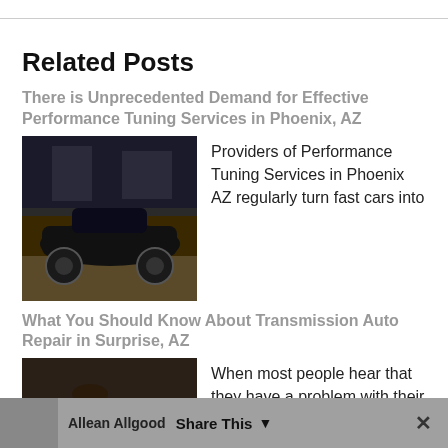Related Posts
There is Unprecedented Demand for Effective Performance Tuning Services in Phoenix, AZ
[Figure (photo): Black sports car in a garage/workshop setting]
Providers of Performance Tuning Services in Phoenix AZ regularly turn fast cars into
What You Should Know About Transmission Auto Repair in Surprise, AZ
[Figure (photo): Mechanic in yellow shirt working on a vehicle brake/wheel component]
When most people hear that they have a problem with their transmission, anxiety
About Author
Allean Allgood   Share This ˅   ✕